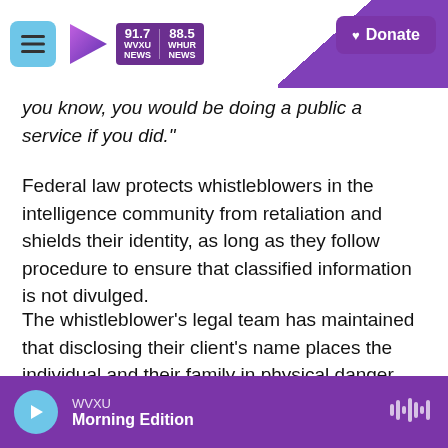WVXU 91.7 NEWS | 88.5 WHUR NEWS | Donate
you know, you would be doing a public a service if you did."
Federal law protects whistleblowers in the intelligence community from retaliation and shields their identity, as long as they follow procedure to ensure that classified information is not divulged.
The whistleblower's legal team has maintained that disclosing their client's name places the individual and their family in physical danger.
Since the whistleblower's complaint was filed, the whistleblower and the person's legal team have
WVXU | Morning Edition